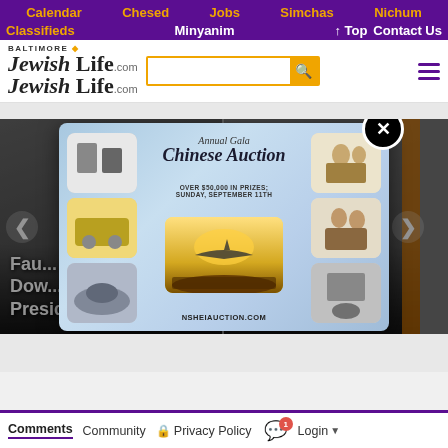Calendar  Chesed  Jobs  Simchas  Nichum
Classifieds  Minyanim  ↑ Top  Contact Us
Baltimore Jewish Life.com
[Figure (screenshot): Website screenshot of Baltimore Jewish Life showing navigation, search bar, hamburger menu, image slider with article previews, and a popup advertisement for Annual Gala Chinese Auction at NSHEI AUCTION.COM]
[Figure (photo): Popup advertisement: Annual Gala Chinese Auction. Over $50,000 in prizes. Sunday, September 11th. NSHEIAUCTION.COM. Collage of prizes including electronics, groceries, car interior, food, children, and person. Central image shows an airplane over a crowd.]
Fau... Dow... President...
...iti... ...ble in Northeast DC ...s
Comments  Community  Privacy Policy  Login
OVER $50,000 IN PRIZES; SUNDAY, SEPTEMBER 11TH
NSHEIAUCTION.COM